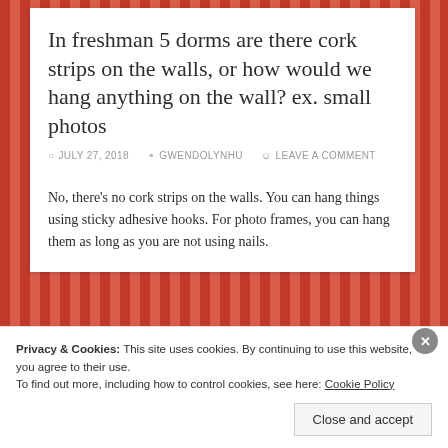In freshman 5 dorms are there cork strips on the walls, or how would we hang anything on the wall? ex. small photos
JULY 27, 2018   GWENDOLYNHU   LEAVE A COMMENT
No, there's no cork strips on the walls. You can hang things using sticky adhesive hooks. For photo frames, you can hang them as long as you are not using nails.
Privacy & Cookies: This site uses cookies. By continuing to use this website, you agree to their use.
To find out more, including how to control cookies, see here: Cookie Policy